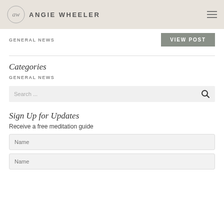ANGIE WHEELER
GENERAL NEWS
VIEW POST
Categories
GENERAL NEWS
Search ...
Sign Up for Updates
Receive a free meditation guide
Name
Name